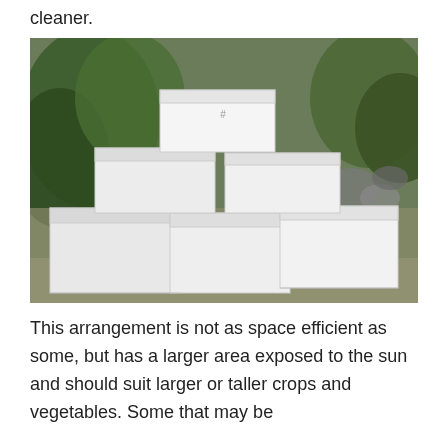cleaner.
[Figure (photo): A pyramid arrangement of white styrofoam/polystyrene boxes stacked outdoors on a paved surface, with green plants and rocks visible in the background. The boxes are stacked in a step-pyramid shape with the largest at the bottom and smallest at the top.]
This arrangement is not as space efficient as some, but has a larger area exposed to the sun and should suit larger or taller crops and vegetables. Some that may be